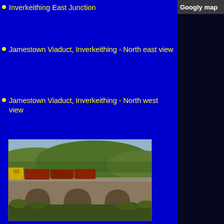Inverkeithing East Junction
Jamestown Viaduct, Inverkeithing - North east view
Jamestown Viaduct, Inverkeithing - North west view
[Figure (photo): Photo of Jamestown Viaduct, Inverkeithing - North west view, showing a train on a viaduct with green hills and vegetation in the background]
Jamestown Viaduct, Inverkeithing - South east [1]
Jamestown Viaduct, Inverkeithing - South east [2]
Longannet - Cairneyhill Village
Longannet - Low Valleyfield
Googly map